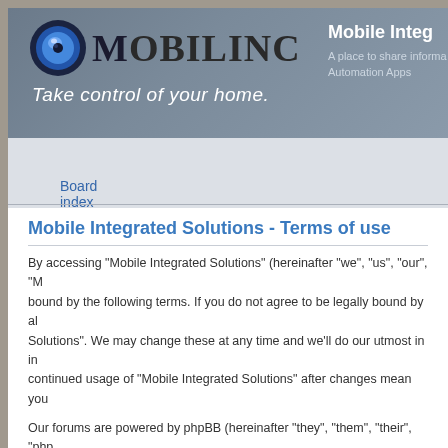[Figure (logo): MobiLinc logo with globe/eye icon and text 'MOBILINC - Take control of your home.' on a grey-blue banner background. Right side shows 'Mobile Integ...' and subtitle 'A place to share informa... Automation Apps']
Board index
Mobile Integrated Solutions - Terms of use
By accessing “Mobile Integrated Solutions” (hereinafter “we”, “us”, “our”, “... bound by the following terms. If you do not agree to be legally bound by a... Solutions”. We may change these at any time and we’ll do our utmost in i... continued usage of “Mobile Integrated Solutions” after changes mean you...
Our forums are powered by phpBB (hereinafter “they”, “them”, “their”, “php... bulletin board solution released under the “General Public License” (herei... only facilitates internet based discussions, the phpBB Group are not respo... For further information about phpBB, please see: https://www.phpbb.com/...
You agree not to post any abusive, obscene, vulgar, slanderous, hateful...